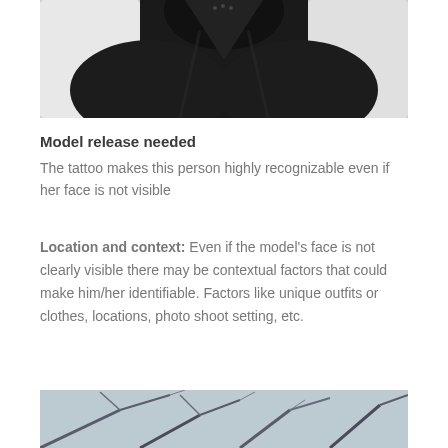[Figure (photo): Black and white photo showing a person's neck and shoulders wearing a dark top, lying against white background, tattoo visible on neck area]
Model release needed
The tattoo makes this person highly recognizable even if her face is not visible
Location and context: Even if the model's face is not clearly visible there may be contextual factors that could make him/her identifiable. Factors like unique outfits or clothes, locations, photo shoot setting, etc.
[Figure (photo): Color photo of a winter outdoor scene with frost-covered bare tree branches against a blue-grey sky]